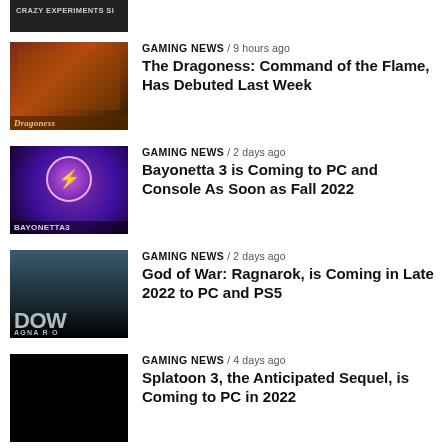[Figure (screenshot): Partial top thumbnail with CRAZY EXPERIMENTS SI label]
[Figure (photo): Dragoness game cover thumbnail]
GAMING NEWS / 9 hours ago
The Dragoness: Command of the Flame, Has Debuted Last Week
[Figure (photo): Bayonetta 3 game cover thumbnail]
GAMING NEWS / 2 days ago
Bayonetta 3 is Coming to PC and Console As Soon as Fall 2022
[Figure (photo): God of War Ragnarok game cover thumbnail]
GAMING NEWS / 2 days ago
God of War: Ragnarok, is Coming in Late 2022 to PC and PS5
[Figure (photo): Splatoon 3 game cover thumbnail (black)]
GAMING NEWS / 4 days ago
Splatoon 3, the Anticipated Sequel, is Coming to PC in 2022
[Figure (photo): The Diofield Chronicle game cover thumbnail]
GAMING NEWS / 4 days ago
The Diofield Chronicle, Coming to